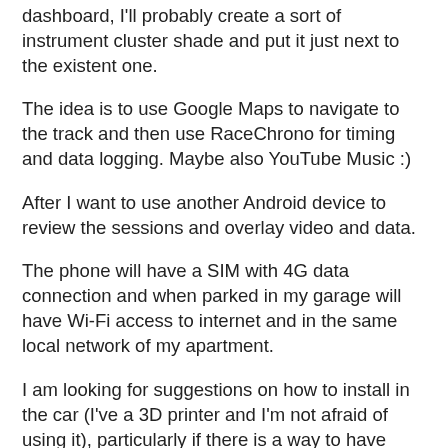dashboard, I'll probably create a sort of instrument cluster shade and put it just next to the existent one.
The idea is to use Google Maps to navigate to the track and then use RaceChrono for timing and data logging. Maybe also YouTube Music :)
After I want to use another Android device to review the sessions and overlay video and data.
The phone will have a SIM with 4G data connection and when parked in my garage will have Wi-Fi access to internet and in the same local network of my apartment.
I am looking for suggestions on how to install in the car (I've a 3D printer and I'm not afraid of using it), particularly if there is a way to have physical buttons to control the main functions (home, back, tap) and how